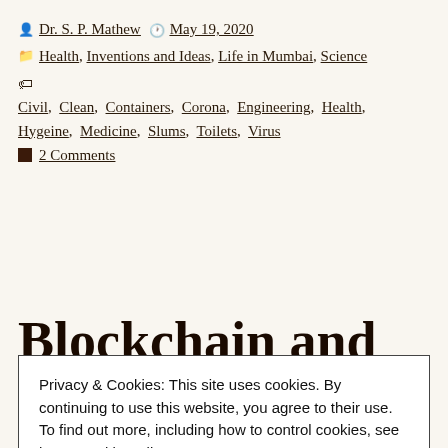Dr. S. P. Mathew   May 19, 2020
Health, Inventions and Ideas, Life in Mumbai, Science
Civil, Clean, Containers, Corona, Engineering, Health, Hygeine, Medicine, Slums, Toilets, Virus
2 Comments
Blockchain and
Privacy & Cookies: This site uses cookies. By continuing to use this website, you agree to their use. To find out more, including how to control cookies, see here: Cookie Policy
Close and accept
blockchain! In general a blockchain is defined as a